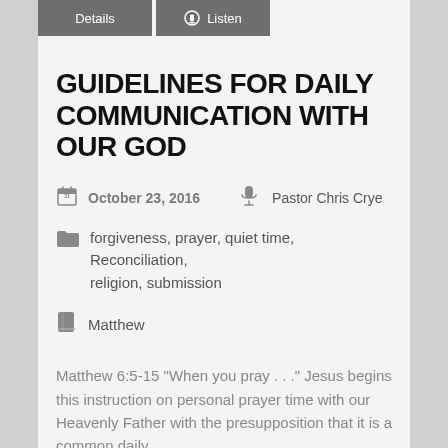Details | Listen
GUIDELINES FOR DAILY COMMUNICATION WITH OUR GOD
October 23, 2016   Pastor Chris Crye
forgiveness, prayer, quiet time, Reconciliation, religion, submission
Matthew
Matthew 6:5-15 “When you pray . . .” Jesus begins this instruction on personal prayer time with our Heavenly Father with the presupposition that it is a common daily